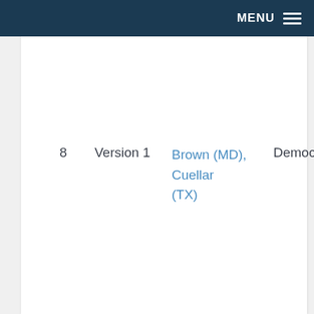MENU
|  | Version | Names | Party |
| --- | --- | --- | --- |
| 8 | Version 1 | Brown (MD), Cuellar (TX) | Democrat |